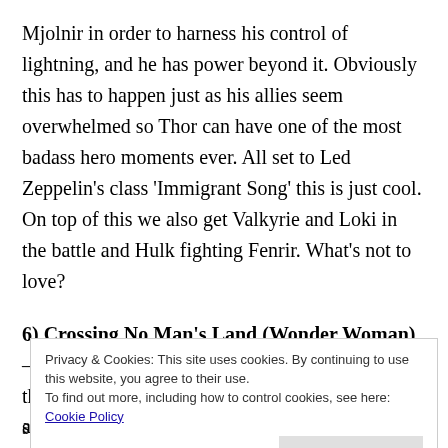Mjolnir in order to harness his control of lightning, and he has power beyond it. Obviously this has to happen just as his allies seem overwhelmed so Thor can have one of the most badass hero moments ever. All set to Led Zeppelin's class 'Immigrant Song' this is just cool. On top of this we also get Valkyrie and Loki in the battle and Hulk fighting Fenrir. What's not to love?
6) Crossing No Man's Land (Wonder Woman) – This moment in Wonder Woman sums up what the character and the film are all about. She is someone who isn't going to just standby and let bad things happen. She
Privacy & Cookies: This site uses cookies. By continuing to use this website, you agree to their use.
To find out more, including how to control cookies, see here: Cookie Policy
Close and accept
any comic book film crosses no man's land and